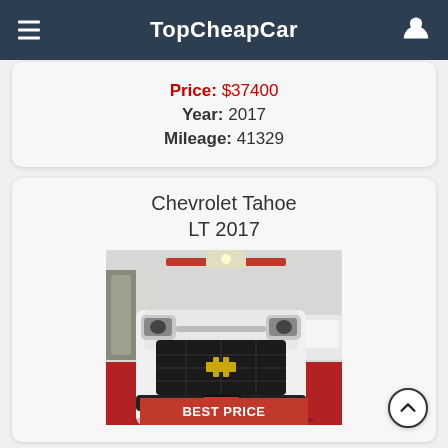TopCheapCar
Price: $37400
Year: 2017
Mileage: 41329
Chevrolet Tahoe LT 2017
[Figure (photo): Front view of a white 2017 Chevrolet Tahoe LT SUV in a dealership, with a red floor and other cars visible in the background.]
BEST PRICE